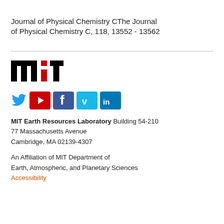Journal of Physical Chemistry CThe Journal of Physical Chemistry C, 118, 13552 - 13562
[Figure (logo): MIT logo in black and red]
[Figure (logo): Social media icons: Twitter, YouTube, Facebook, Vimeo, LinkedIn]
MIT Earth Resources Laboratory
Building 54-210
77 Massachusetts Avenue
Cambridge, MA 02139-4307
An Affiliation of MIT Department of Earth, Atmospheric, and Planetary Sciences
Accessibility